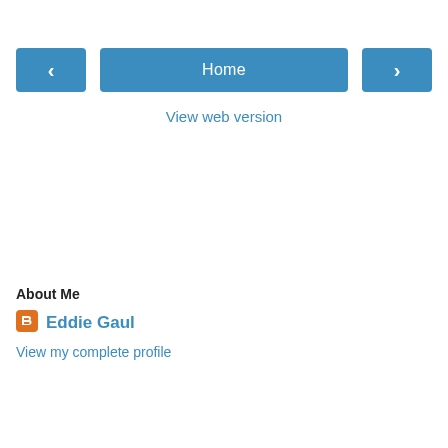[Figure (screenshot): Navigation bar with left arrow button, Home center button, and right arrow button]
View web version
About Me
[Figure (logo): Blogger orange B logo icon]
Eddie Gaul
View my complete profile